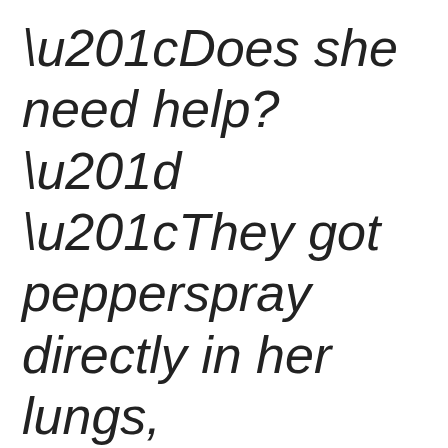“Does she need help?” “They got pepperspray directly in her lungs, she’s okay, she’s up and walking now, we